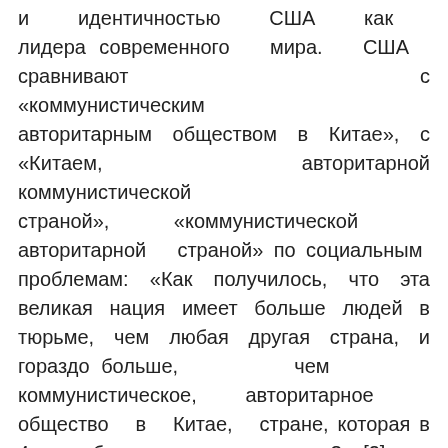и идентичностью США как лидера современного мира. США сравнивают с «коммунистическим авторитарным обществом в Китае», с «Китаем, авторитарной коммунистической страной», «коммунистической авторитарной страной» по социальным проблемам: «Как получилось, что эта великая нация имеет больше людей в тюрьме, чем любая другая страна, и гораздо больше, чем коммунистическое, авторитарное общество в Китае, стране, которая в 4 раза больше нашего размера?» [2]. Или, когда США «пренебрегают» американской промышленностью, это подразумевает, что они делают то, что не должны делать: «Мы импортируем песок и гравий прямо сейчас из Китая. Мы получаем нашу совокупность прямо сейчас от коммунистического Китая» [2]. Иногда Китай